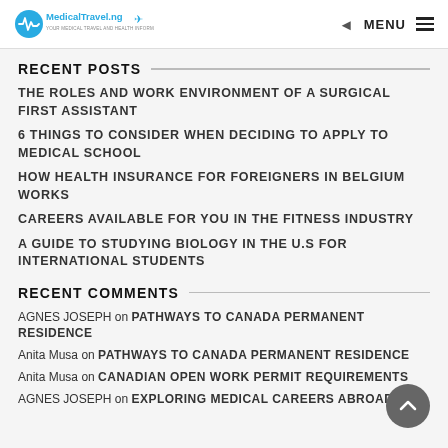MedicalTravel.ng MENU
RECENT POSTS
THE ROLES AND WORK ENVIRONMENT OF A SURGICAL FIRST ASSISTANT
6 THINGS TO CONSIDER WHEN DECIDING TO APPLY TO MEDICAL SCHOOL
HOW HEALTH INSURANCE FOR FOREIGNERS IN BELGIUM WORKS
CAREERS AVAILABLE FOR YOU IN THE FITNESS INDUSTRY
A GUIDE TO STUDYING BIOLOGY IN THE U.S FOR INTERNATIONAL STUDENTS
RECENT COMMENTS
AGNES JOSEPH on PATHWAYS TO CANADA PERMANENT RESIDENCE
Anita Musa on PATHWAYS TO CANADA PERMANENT RESIDENCE
Anita Musa on CANADIAN OPEN WORK PERMIT REQUIREMENTS
AGNES JOSEPH on EXPLORING MEDICAL CAREERS ABROAD